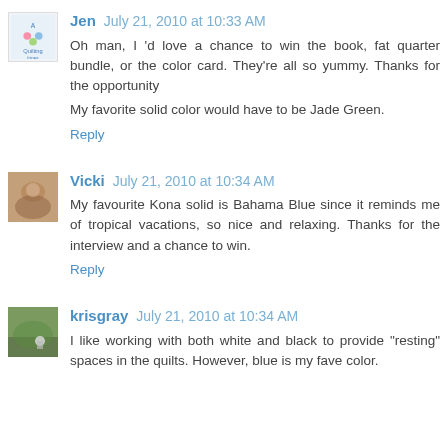[Figure (photo): Avatar image for user Jen - quilting themed logo]
Jen July 21, 2010 at 10:33 AM
Oh man, I 'd love a chance to win the book, fat quarter bundle, or the color card. They're all so yummy. Thanks for the opportunity
My favorite solid color would have to be Jade Green.
Reply
[Figure (photo): Avatar thumbnail for user Vicki - warm toned photo]
Vicki July 21, 2010 at 10:34 AM
My favourite Kona solid is Bahama Blue since it reminds me of tropical vacations, so nice and relaxing. Thanks for the interview and a chance to win.
Reply
[Figure (photo): Avatar thumbnail for user krisgray - garden photo]
krisgray July 21, 2010 at 10:34 AM
I like working with both white and black to provide "resting" spaces in the quilts. However, blue is my fave color.